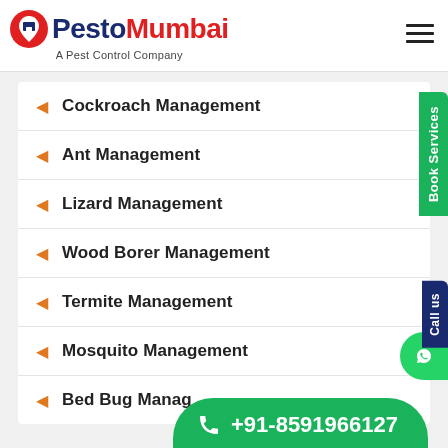[Figure (logo): PestoMumbai logo with location pin icon, bold navy 'Pesto' and red 'Mumbai' text, subtitle 'A Pest Control Company']
Cockroach Management
Ant Management
Lizard Management
Wood Borer Management
Termite Management
Mosquito Management
Bed Bug Management
Book Services
Call us
+91-8591966127